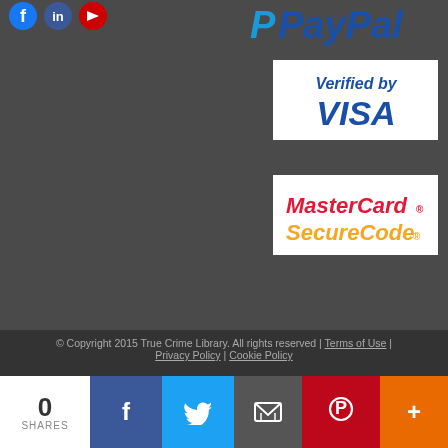[Figure (logo): Social media icons (Facebook, Twitter, YouTube) at top left]
[Figure (logo): PayPal logo at top right]
[Figure (logo): Verified by VISA logo]
[Figure (logo): MasterCard SecureCode logo]
© Copyright 2015 True Crime Library. All rights reserved | Terms of Use | Privacy Policy | Cookie Policy
Our website uses cookies to improve your experience as
0 SHARES
[Figure (infographic): Share bar with Facebook, Twitter, Email, Pinterest, More buttons]